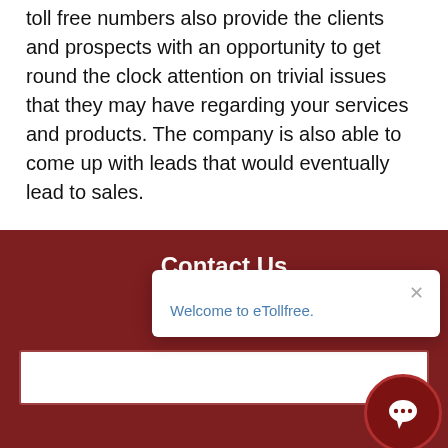toll free numbers also provide the clients and prospects with an opportunity to get round the clock attention on trivial issues that they may have regarding your services and products. The company is also able to come up with leads that would eventually lead to sales.
Contact Us
Welcome to eTollfree.
Full Name